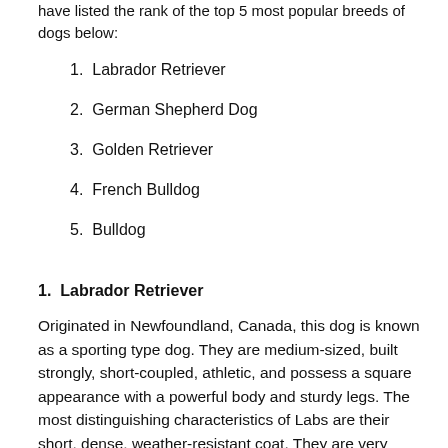have listed the rank of the top 5 most popular breeds of dogs below:
1. Labrador Retriever
2. German Shepherd Dog
3. Golden Retriever
4. French Bulldog
5. Bulldog
1.  Labrador Retriever
Originated in Newfoundland, Canada, this dog is known as a sporting type dog. They are medium-sized, built strongly, short-coupled, athletic, and possess a square appearance with a powerful body and sturdy legs. The most distinguishing characteristics of Labs are their short, dense, weather-resistant coat. They are very much friendly and have a sweet appearance.